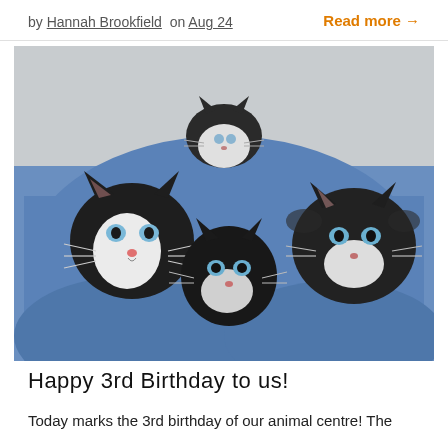by Hannah Brookfield on Aug 24
Read more →
[Figure (photo): Four black and white kittens held by a person wearing blue scrubs. Three kittens face the camera with blue eyes, one kitten is visible in the background perched higher up.]
Happy 3rd Birthday to us!
Today marks the 3rd birthday of our animal centre! The